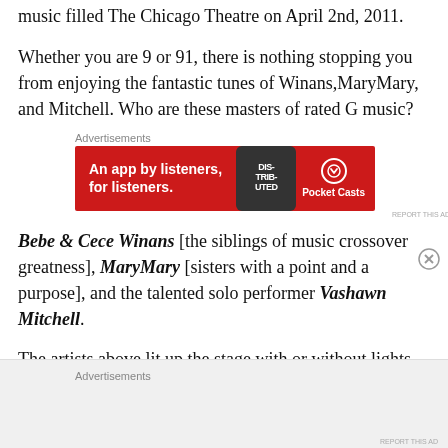music filled The Chicago Theatre on April 2nd, 2011.
Whether you are 9 or 91, there is nothing stopping you from enjoying the fantastic tunes of Winans,MaryMary, and Mitchell. Who are these masters of rated G music?
[Figure (other): Advertisement banner for Pocket Casts app showing red background with phone graphic, text 'An app by listeners, for listeners.' and Pocket Casts logo]
Bebe & Cece Winans [the siblings of music crossover greatness], MaryMary [sisters with a point and a purpose], and the talented solo performer Vashawn Mitchell.
The artists above lit up the stage with or without lights.
[Figure (other): Advertisement section at bottom of page with gray background]